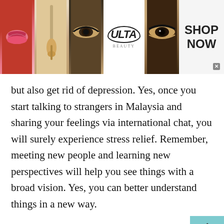[Figure (infographic): Ulta Beauty advertisement banner with makeup images (lips, brush, eye makeup, Ulta logo, eye), and 'SHOP NOW' call to action with close button]
but also get rid of depression. Yes, once you start talking to strangers in Malaysia and sharing your feelings via international chat, you will surely experience stress relief. Remember, meeting new people and learning new perspectives will help you see things with a broad vision. Yes, you can better understand things in a new way.
So, are you willing to make your moments happy and unforgettable? We suggest you avail the perks of international or world chat feature at the
[Figure (infographic): Two sponsored advertisement items at bottom: 1) 'Why You Need This Strange Device when the Grid Goes Down' - Ad by Dark Age Defense, with gear/device image. 2) '30 Actors Everyone Thinks Are American, But Aren't!' - Adby RilyNews, with man's photo.]